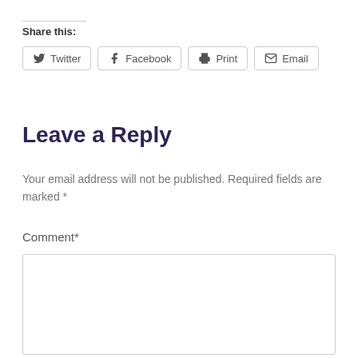Share this:
Twitter  Facebook  Print  Email
Leave a Reply
Your email address will not be published. Required fields are marked *
Comment*